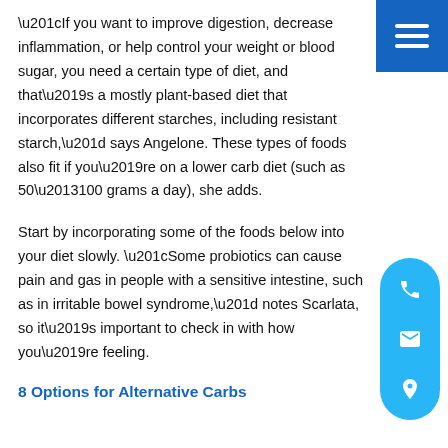“If you want to improve digestion, decrease inflammation, or help control your weight or blood sugar, you need a certain type of diet, and that’s a mostly plant-based diet that incorporates different starches, including resistant starch,” says Angelone. These types of foods also fit if you’re on a lower carb diet (such as 50–100 grams a day), she adds.
Start by incorporating some of the foods below into your diet slowly. “Some probiotics can cause pain and gas in people with a sensitive intestine, such as in irritable bowel syndrome,” notes Scarlata, so it’s important to check in with how you’re feeling.
8 Options for Alternative Carbs